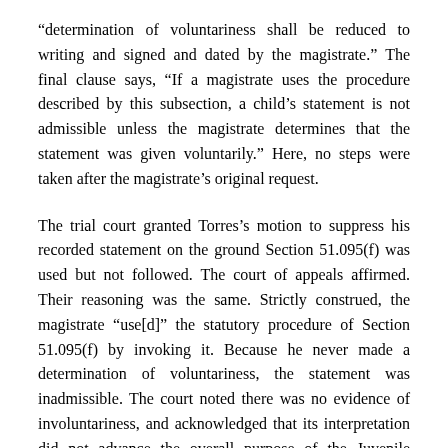“determination of voluntariness shall be reduced to writing and signed and dated by the magistrate.” The final clause says, “If a magistrate uses the procedure described by this subsection, a child’s statement is not admissible unless the magistrate determines that the statement was given voluntarily.” Here, no steps were taken after the magistrate’s original request.
The trial court granted Torres’s motion to suppress his recorded statement on the ground Section 51.095(f) was used but not followed. The court of appeals affirmed. Their reasoning was the same. Strictly construed, the magistrate “use[d]” the statutory procedure of Section 51.095(f) by invoking it. Because he never made a determination of voluntariness, the statement was inadmissible. The court noted there was no evidence of involuntariness, and acknowledged that its interpretation did not advance the overall purpose of the Juvenile Justice Code and “could lead to an unjust result.” It urged the Legislature to amend it.